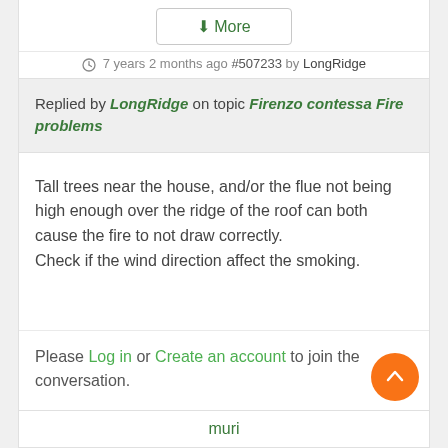↓More
🕐 7 years 2 months ago #507233 by LongRidge
Replied by LongRidge on topic Firenzo contessa Fire problems
Tall trees near the house, and/or the flue not being high enough over the ridge of the roof can both cause the fire to not draw correctly. Check if the wind direction affect the smoking.
Please Log in or Create an account to join the conversation.
muri